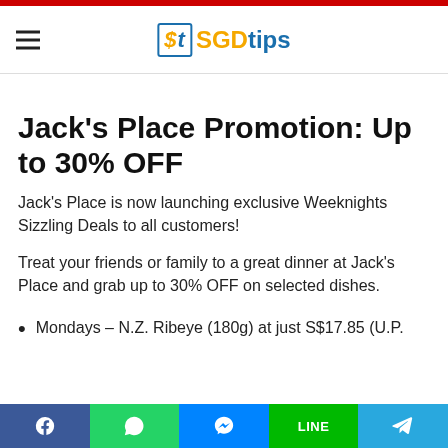SGDtips
Jack’s Place Promotion: Up to 30% OFF
Jack’s Place is now launching exclusive Weeknights Sizzling Deals to all customers!
Treat your friends or family to a great dinner at Jack’s Place and grab up to 30% OFF on selected dishes.
Mondays – N.Z. Ribeye (180g) at just S$17.85 (U.P.
f | WhatsApp | Messenger | LINE | Telegram